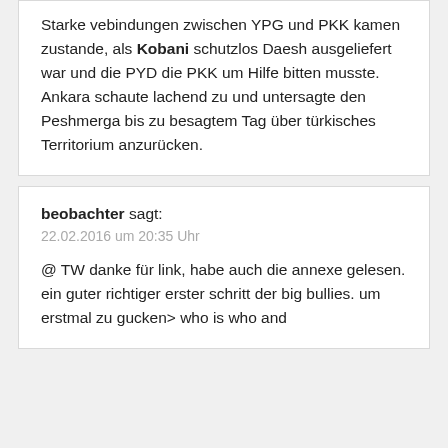Starke vebindungen zwischen YPG und PKK kamen zustande, als Kobani schutzlos Daesh ausgeliefert war und die PYD die PKK um Hilfe bitten musste. Ankara schaute lachend zu und untersagte den Peshmerga bis zu besagtem Tag über türkisches Territorium anzurücken.
beobachter sagt:
22.02.2016 um 20:35 Uhr
@ TW danke für link, habe auch die annexe gelesen. ein guter richtiger erster schritt der big bullies. um erstmal zu gucken> who is who and